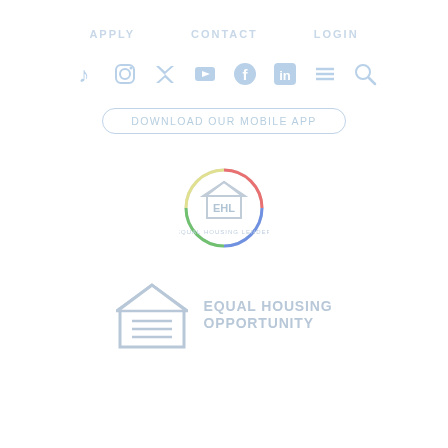APPLY   CONTACT   LOGIN
[Figure (logo): Social media icons row: TikTok, Instagram, Twitter, YouTube, Facebook, LinkedIn, menu, search]
Download our Mobile App
[Figure (logo): Equal Housing Lender circular badge logo with house and EHL text]
[Figure (logo): Equal Housing Opportunity logo with house icon and text EQUAL HOUSING OPPORTUNITY]